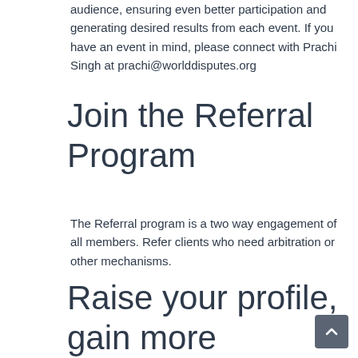audience, ensuring even better participation and generating desired results from each event. If you have an event in mind, please connect with Prachi Singh at prachi@worlddisputes.org
Join the Referral Program
The Referral program is a two way engagement of all members. Refer clients who need arbitration or other mechanisms.
Raise your profile, gain more exposure, grow your influence